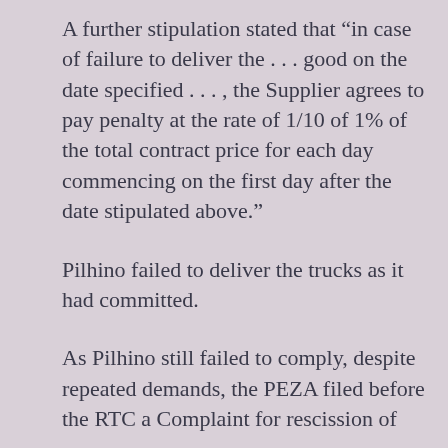A further stipulation stated that “in case of failure to deliver the . . . good on the date specified . . . , the Supplier agrees to pay penalty at the rate of 1/10 of 1% of the total contract price for each day commencing on the first day after the date stipulated above.”
Pilhino failed to deliver the trucks as it had committed.
As Pilhino still failed to comply, despite repeated demands, the PEZA filed before the RTC a Complaint for rescission of